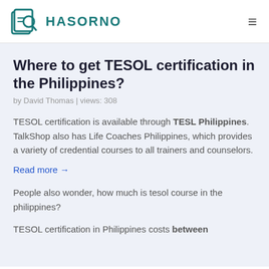HASORNO
Where to get TESOL certification in the Philippines?
by David Thomas | views: 308
TESOL certification is available through TESL Philippines. TalkShop also has Life Coaches Philippines, which provides a variety of credential courses to all trainers and counselors.
Read more →
People also wonder, how much is tesol course in the philippines?
TESOL certification in Philippines costs between